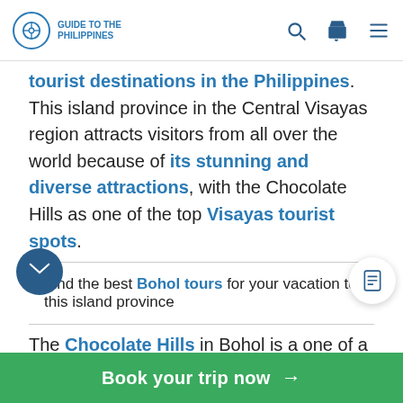Guide to the Philippines
tourist destinations in the Philippines. This island province in the Central Visayas region attracts visitors from all over the world because of its stunning and diverse attractions, with the Chocolate Hills as one of the top Visayas tourist spots.
Find the best Bohol tours for your vacation to this island province
The Chocolate Hills in Bohol is a one of a kind geological formation of grass-covered hills that turn brown during the dry season. Bohol is also known as the home of one of the world's smallest primates, the tarsiers.
Book your trip now